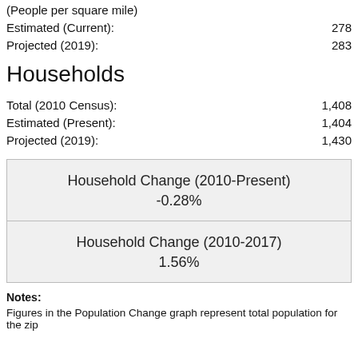(People per square mile)
Estimated (Current): 278
Projected (2019): 283
Households
Total (2010 Census): 1,408
Estimated (Present): 1,404
Projected (2019): 1,430
| Household Change (2010-Present) | -0.28% |
| Household Change (2010-2017) | 1.56% |
Notes:
Figures in the Population Change graph represent total population for the zip